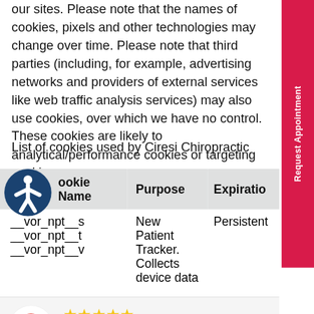our sites. Please note that the names of cookies, pixels and other technologies may change over time. Please note that third parties (including, for example, advertising networks and providers of external services like web traffic analysis services) may also use cookies, over which we have no control. These cookies are likely to analytical/performance cookies or targeting cookies.
List of cookies used by Ciresi Chiropractic
| Cookie Name | Purpose | Expiration |
| --- | --- | --- |
| __vor_npt__s
__vor_npt__t
__vor_npt__v | New Patient Tracker. Collects device data | Persistent |
[Figure (other): Google review widget with 5 stars and review text: 'Very welcoming staff and always on time' by Kathy Nottell, with More link]
[Figure (other): COVID-19 UPDATE banner in dark red]